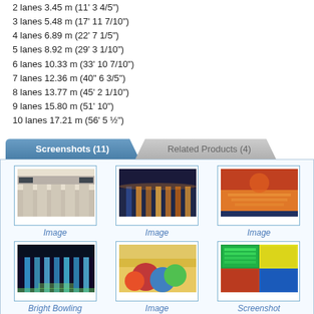2 lanes 3.45 m (11' 3 4/5")
3 lanes 5.48 m (17' 11 7/10")
4 lanes 6.89 m (22' 7 1/5")
5 lanes 8.92 m (29' 3 1/10")
6 lanes 10.33 m (33' 10 7/10")
7 lanes 12.36 m (40" 6 3/5")
8 lanes 13.77 m (45' 2 1/10")
9 lanes 15.80 m (51' 10")
10 lanes 17.21 m (56' 5 ½")
Screenshots (11)
Related Products (4)
[Figure (photo): Bowling alley interior, white/beige lanes]
Image
[Figure (photo): Colorful night bowling alley with orange lighting]
Image
[Figure (photo): Overhead view of bowling alley with red/orange lighting]
Image
[Figure (photo): UV/neon bowling alley with blue and green lighting]
Bright Bowling
[Figure (photo): Colorful bowling balls close-up]
Image
[Figure (screenshot): Bowling game screenshot with colorful UI]
Screenshot
[Figure (photo): Partial thumbnail at bottom]